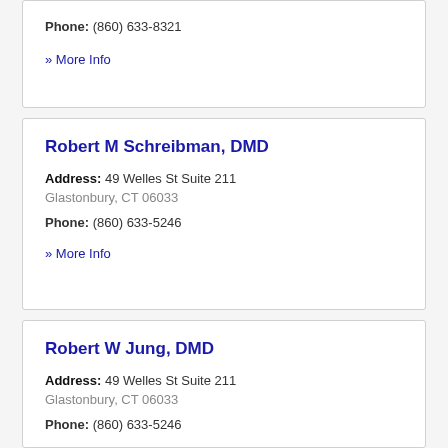Phone: (860) 633-8321
» More Info
Robert M Schreibman, DMD
Address: 49 Welles St Suite 211
Glastonbury, CT 06033
Phone: (860) 633-5246
» More Info
Robert W Jung, DMD
Address: 49 Welles St Suite 211
Glastonbury, CT 06033
Phone: (860) 633-5246
» More Info